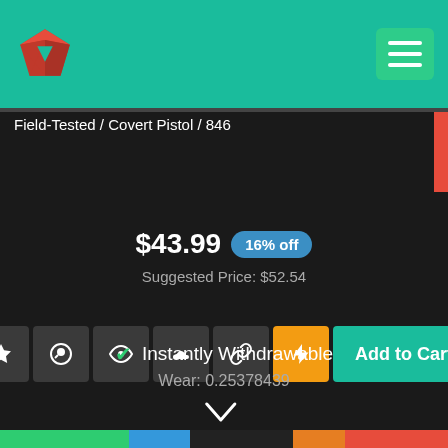[Figure (logo): Red diamond/gem logo icon in header]
Field-Tested / Covert Pistol / 846
$43.99  16% off
Suggested Price: $52.54
[Figure (infographic): Row of action icon buttons: star, Steam, eye, inspect, link, lightning bolt, and Add to Cart button]
Instantly Withdrawable
Wear: 0.25378439
[Figure (infographic): Wear condition color bar at bottom: green, blue, dark, orange, red segments with chevron pointing down]